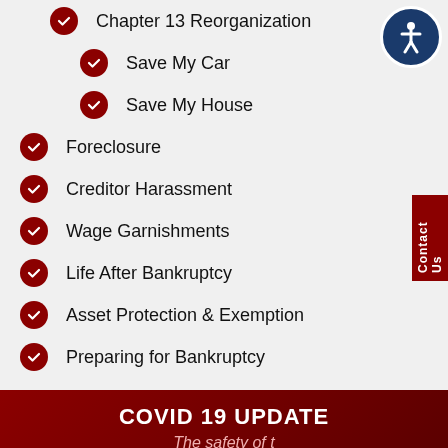Chapter 13 Reorganization
Save My Car
Save My House
Foreclosure
Creditor Harassment
Wage Garnishments
Life After Bankruptcy
Asset Protection & Exemption
Preparing for Bankruptcy
COVID 19 UPDATE
The safety of t
Menu  Search  Contact  Attorneys  LIVE CHAT  TEXT US